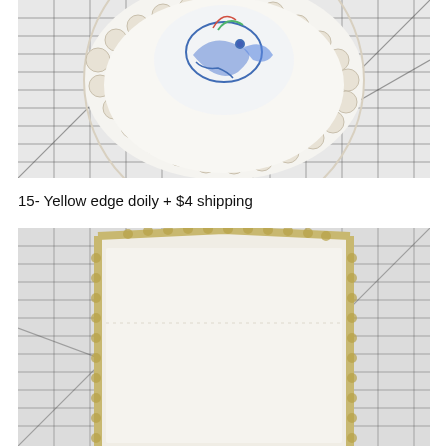[Figure (photo): A round crocheted doily with white lace edge and blue floral embroidery in center, photographed on a white grid cutting mat]
15- Yellow edge doily + $4 shipping
[Figure (photo): A rectangular white linen doily with yellow crocheted edge, shown face-down on a white grid cutting mat]